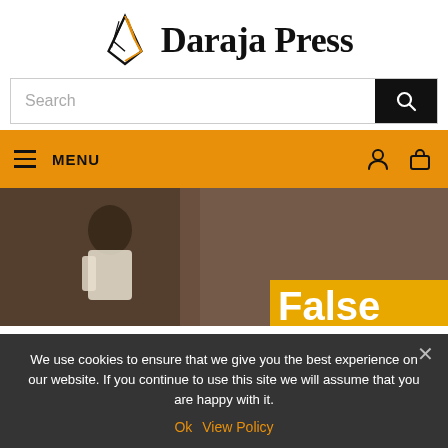[Figure (logo): Daraja Press logo with geometric book/sail shape in black and orange, followed by bold serif text 'Daraja Press']
[Figure (screenshot): Search bar with 'Search' placeholder text and a dark search button with magnifying glass icon]
[Figure (screenshot): Orange navigation bar with hamburger menu icon, 'MENU' text label, and user/cart icons on the right]
[Figure (photo): Hero image showing a man in a white shirt against a blurred background, with a yellow/orange overlay text block partially showing letters 'False' or similar]
We use cookies to ensure that we give you the best experience on our website. If you continue to use this site we will assume that you are happy with it.
Ok  View Policy